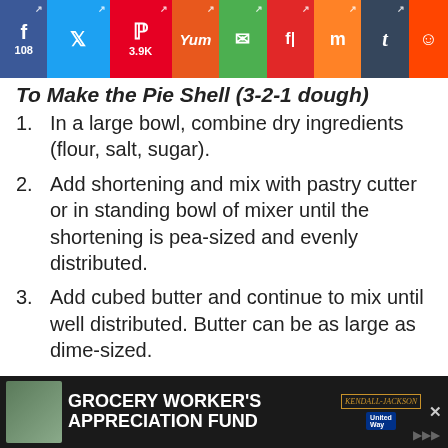[Figure (screenshot): Social media share bar with Facebook (108), Twitter, Pinterest (3.9K), Yummly, Email, Flipboard, Mix, Tumblr, Reddit buttons]
To Make the Pie Shell (3-2-1 dough)
In a large bowl, combine dry ingredients (flour, salt, sugar).
Add shortening and mix with pastry cutter or in standing bowl of mixer until the shortening is pea-sized and evenly distributed.
Add cubed butter and continue to mix until well distributed. Butter can be as large as dime-sized.
Add egg yolk and then 1 tablespoon of water at a time, trying to distribute evenly over the surface. **Do not add all
[Figure (screenshot): Advertisement banner: Grocery Worker's Appreciation Fund with Kendall Jackson and United Way logos]